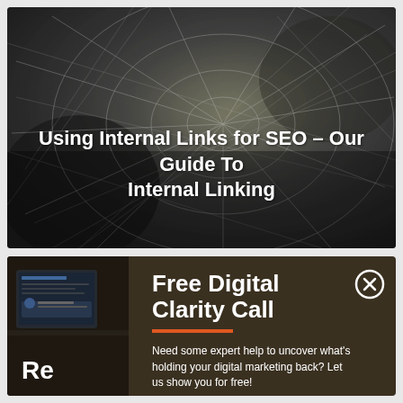[Figure (photo): Dark background photo of a spider web with bokeh lighting and a globe-like structure, overlaid with the article title]
Using Internal Links for SEO – Our Guide To Internal Linking
[Figure (screenshot): Dark background showing a laptop screen, partially visible, with a popup overlay for Free Digital Clarity Call]
Free Digital Clarity Call
Need some expert help to uncover what's holding your digital marketing back? Let us show you for free!